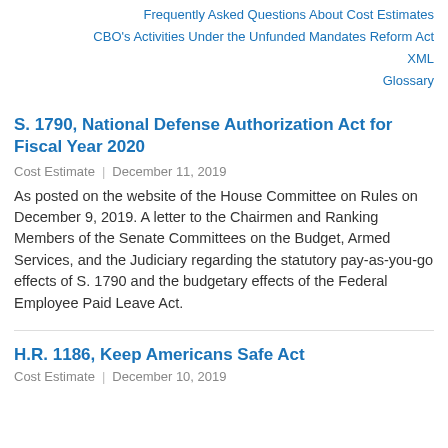Frequently Asked Questions About Cost Estimates
CBO's Activities Under the Unfunded Mandates Reform Act
XML
Glossary
S. 1790, National Defense Authorization Act for Fiscal Year 2020
Cost Estimate | December 11, 2019
As posted on the website of the House Committee on Rules on December 9, 2019. A letter to the Chairmen and Ranking Members of the Senate Committees on the Budget, Armed Services, and the Judiciary regarding the statutory pay-as-you-go effects of S. 1790 and the budgetary effects of the Federal Employee Paid Leave Act.
H.R. 1186, Keep Americans Safe Act
Cost Estimate | December 10, 2019